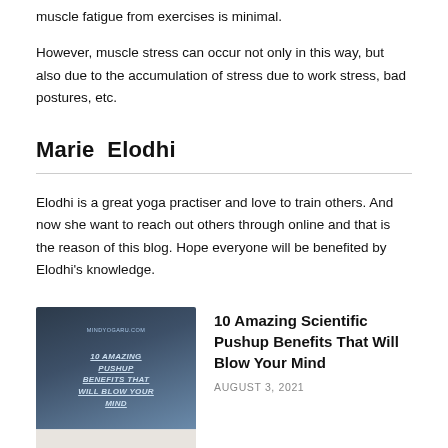muscle fatigue from exercises is minimal.
However, muscle stress can occur not only in this way, but also due to the accumulation of stress due to work stress, bad postures, etc.
Marie Elodhi
Elodhi is a great yoga practiser and love to train others. And now she want to reach out others through online and that is the reason of this blog. Hope everyone will be benefited by Elodhi's knowledge.
[Figure (photo): Article thumbnail showing a book cover with text '10 Amazing Pushup Benefits That Will Blow Your Mind' and a photo of a person doing pushups]
10 Amazing Scientific Pushup Benefits That Will Blow Your Mind
AUGUST 3, 2021